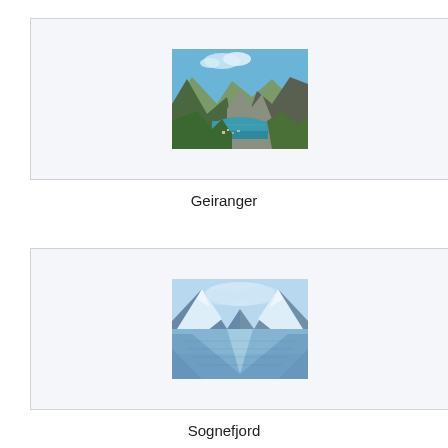[Figure (photo): Aerial view of Geiranger fjord in Norway, showing turquoise water flanked by steep green and rocky mountains, with a small village visible at the waterfront.]
Geiranger
[Figure (photo): View down Sognefjord in Norway, showing still reflective deep blue water between towering snow-capped mountains, creating a mirror-like symmetry.]
Sognefjord